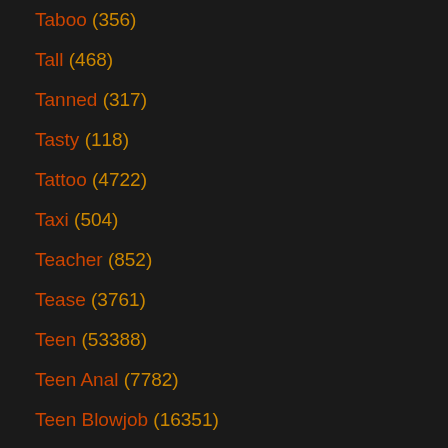Taboo (356)
Tall (468)
Tanned (317)
Tasty (118)
Tattoo (4722)
Taxi (504)
Teacher (852)
Tease (3761)
Teen (53388)
Teen Anal (7782)
Teen Blowjob (16351)
Teen Gangbang (694)
Teen Handjob (1313)
Teen Masturbating (6304)
Teen POV (3257)
Teen Shemale (575)